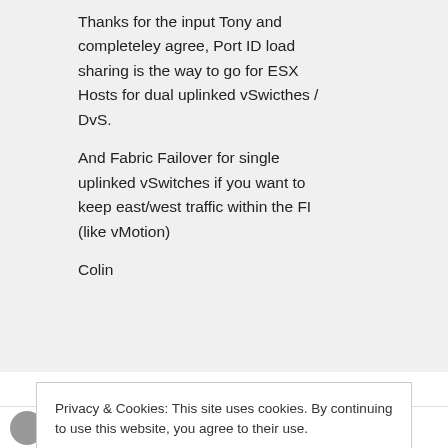Thanks for the input Tony and completeley agree, Port ID load sharing is the way to go for ESX Hosts for dual uplinked vSwicthes / DvS.
And Fabric Failover for single uplinked vSwitches if you want to keep east/west traffic within the FI (like vMotion)
Colin
Privacy & Cookies: This site uses cookies. By continuing to use this website, you agree to their use.
To find out more, including how to control cookies, see here: Cookie Policy
[Close and accept]
GS Khalsa on August 9, 2012 at 5:49 pm